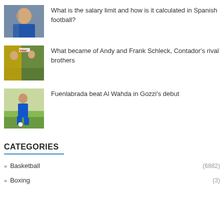[Figure (photo): Man in blue suit raising hand, speaking at event]
What is the salary limit and how is it calculated in Spanish football?
[Figure (photo): Cyclists racing, including rider in yellow jersey near Vittel banner]
What became of Andy and Frank Schleck, Contador's rival brothers
[Figure (photo): Football player in blue kit dribbling ball on pitch]
Fuenlabrada beat Al Wahda in Gozzi's debut
CATEGORIES
Basketball (6882)
Boxing (3)